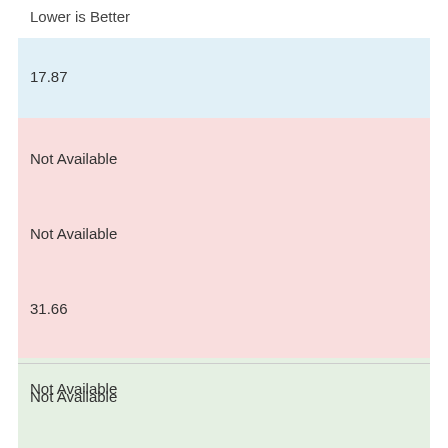Lower is Better
17.87
Not Available
Not Available
31.66
Not Available
Not Available
31.52
Persistence of Beta-Blocker Treatment after a Heart